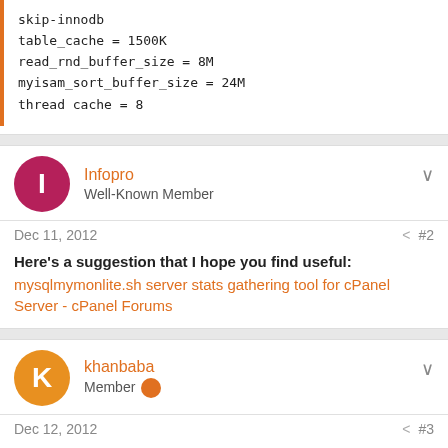skip-innodb
table_cache = 1500K
read_rnd_buffer_size = 8M
myisam_sort_buffer_size = 24M
thread cache = 8
Infopro
Well-Known Member
Dec 11, 2012  #2
Here's a suggestion that I hope you find useful:
mysqlmymonlite.sh server stats gathering tool for cPanel Server - cPanel Forums
khanbaba
Member
Dec 12, 2012  #3